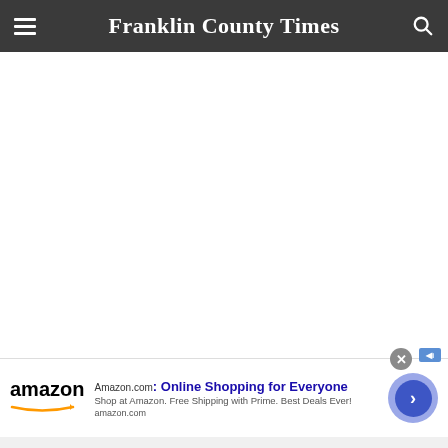Franklin County Times
[Figure (other): Amazon advertisement banner: Amazon logo on left, headline 'Amazon.com: Online Shopping for Everyone', subtext 'Shop at Amazon. Free Shipping with Prime. Best Deals Ever!', url 'amazon.com', with a blue CTA arrow button on the right.]